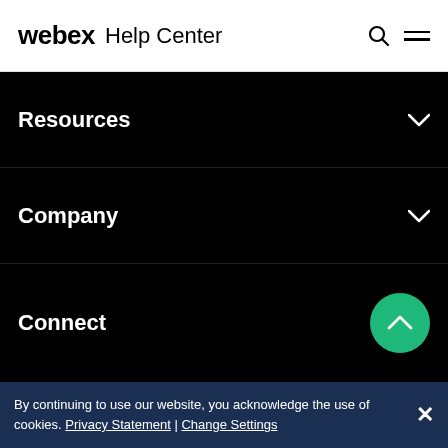webex Help Center
Resources
Company
Connect
By continuing to use our website, you acknowledge the use of cookies. Privacy Statement | Change Settings